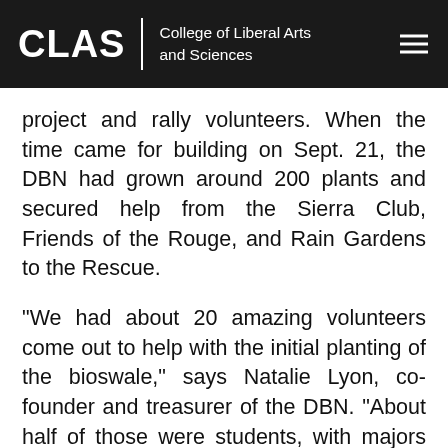CLAS | College of Liberal Arts and Sciences
project and rally volunteers. When the time came for building on Sept. 21, the DBN had grown around 200 plants and secured help from the Sierra Club, Friends of the Rouge, and Rain Gardens to the Rescue.
"We had about 20 amazing volunteers come out to help with the initial planting of the bioswale," says Natalie Lyon, co-founder and treasurer of the DBN. "About half of those were students, with majors ranging from environmental science, geology, and engineering, to English, biology, and